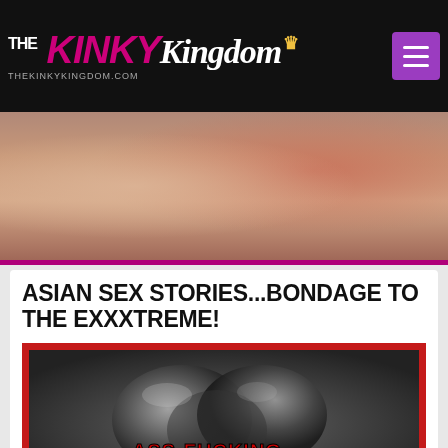THE KINKY Kingdom THEKINKYKINGDOM.COM
[Figure (photo): Close-up photo of human torso with red lingerie, hands visible]
ASIAN SEX STORIES...BONDAGE TO THE EXXXTREME!
[Figure (illustration): Dark illustration showing shiny black latex/rubber shapes with red text overlay reading ASS-FUCKING..., set in a red-bordered frame]